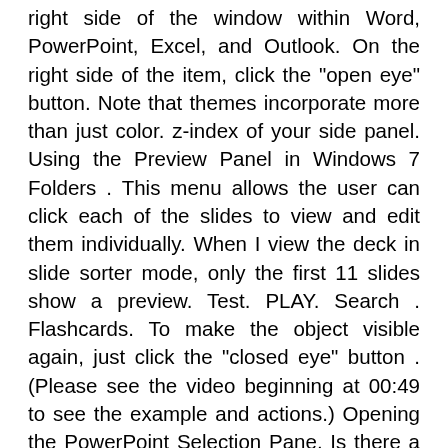right side of the window within Word, PowerPoint, Excel, and Outlook. On the right side of the item, click the "open eye" button. Note that themes incorporate more than just color. z-index of your side panel. Using the Preview Panel in Windows 7 Folders . This menu allows the user can click each of the slides to view and edit them individually. When I view the deck in slide sorter mode, only the first 11 slides show a preview. Test. PLAY. Search . Flashcards. To make the object visible again, just click the "closed eye" button . (Please see the video beginning at 00:49 to see the example and actions.) Opening the PowerPoint Selection Pane. Is there a way to move the notes pane in Powerpoint? Customize side panel of powerpointCustomize side panel of powerpoint. Task panes are user interface panels that are typically docked to one side of a window in a Microsoft Office application. Press Alt+Spacebar then M. Now you can move the window around with the arrow keys (on your keyboard). share. Learn vocabulary, terms, and more with flashcards